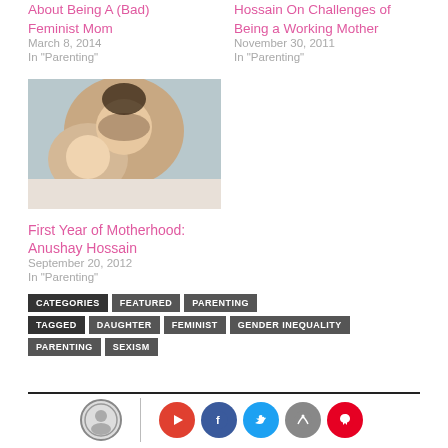About Being A (Bad) Feminist Mom
March 8, 2014
In "Parenting"
Hossain On Challenges of Being a Working Mother
November 30, 2011
In "Parenting"
[Figure (photo): A mother and baby lying down together, smiling]
First Year of Motherhood: Anushay Hossain
September 20, 2012
In "Parenting"
CATEGORIES  FEATURED  PARENTING
TAGGED  DAUGHTER  FEMINIST  GENDER INEQUALITY  PARENTING  SEXISM
Social media icons footer